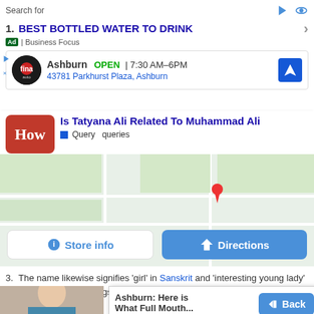Search for
1. BEST BOTTLED WATER TO DRINK
Ad | Business Focus
[Figure (screenshot): Ashburn business card showing: Ashburn OPEN 7:30AM-6PM, 43781 Parkhurst Plaza, Ashburn, with Firestone auto logo and navigation arrow]
[Figure (screenshot): HowToGeek logo card: Is Tatyana Ali Related To Muhammad Ali - Query queries]
[Figure (map): Google Maps partial view with Store info and Directions buttons]
3. The name likewise signifies 'girl' in Sanskrit and 'interesting young lady' in Persian. Other spellings of this name incorporate Tatiana, Tatyanna, Tiana and Tianna.
[Figure (photo): Woman with blue gloves smiling, portrait photo overlay]
[Figure (screenshot): Popup ad: Ashburn: Here is What Full Mouth... Full Mouth Dent... | Sponsored]
inva. The hero in
for
Alexa
Tatia
1. DRIED BLOOD STAIN REMOVAL
Ad | Business Focus
Back
Search for